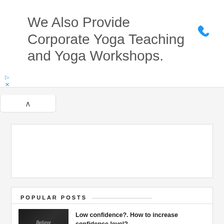[Figure (other): Advertisement banner for corporate yoga teaching and yoga workshops with phone icon]
We Also Provide Corporate Yoga Teaching and Yoga Workshops.
[Figure (other): Empty advertisement box placeholder]
POPULAR POSTS
[Figure (photo): Blackboard with handwritten text: Believe Yourself]
Low confidence?. How to increase confidence level?.
[Figure (photo): Swimming pool image with blue water]
Muscle gain with swimming? You